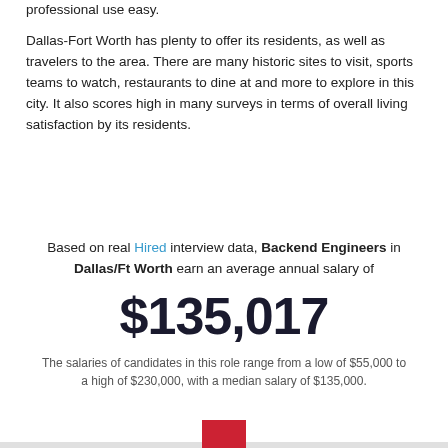professional use easy.
Dallas-Fort Worth has plenty to offer its residents, as well as travelers to the area. There are many historic sites to visit, sports teams to watch, restaurants to dine at and more to explore in this city. It also scores high in many surveys in terms of overall living satisfaction by its residents.
Based on real Hired interview data, Backend Engineers in Dallas/Ft Worth earn an average annual salary of
$135,017
The salaries of candidates in this role range from a low of $55,000 to a high of $230,000, with a median salary of $135,000.